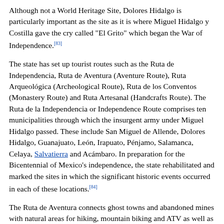Although not a World Heritage Site, Dolores Hidalgo is particularly important as the site as it is where Miguel Hidalgo y Costilla gave the cry called "El Grito" which began the War of Independence.[83]
The state has set up tourist routes such as the Ruta de Independencia, Ruta de Aventura (Aventure Route), Ruta Arqueológica (Archeological Route), Ruta de los Conventos (Monastery Route) and Ruta Artesanal (Handcrafts Route). The Ruta de la Independencia or Independence Route comprises ten municipalities through which the insurgent army under Miguel Hidalgo passed. These include San Miguel de Allende, Dolores Hidalgo, Guanajuato, León, Irapuato, Pénjamo, Salamanca, Celaya, Salvatierra and Acámbaro. In preparation for the Bicentennial of Mexico's independence, the state rehabilitated and marked the sites in which the significant historic events occurred in each of these locations.[84]
The Ruta de Aventura connects ghost towns and abandoned mines with natural areas for hiking, mountain biking and ATV as well as other extreme sports such as paragliding. One of the ghost towns is Mineral de Pozos in the northeast of the state. The town still has its cobblestone streets with names such as Relámpago (lightning), Estrellas (stars) and Flores (Flowers). The houses here are abandoned, many in ruins and none with roofs. The town reached